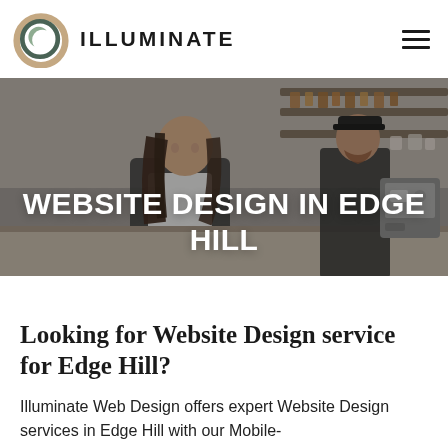ILLUMINATE
[Figure (photo): Hero image of a cafe: a young woman barista with long brown hair wearing an apron looks down at a counter; a bearded male barista works at an espresso machine in the background; cafe shelves and supplies visible.]
WEBSITE DESIGN IN EDGE HILL
Looking for Website Design service for Edge Hill?
Illuminate Web Design offers expert Website Design services in Edge Hill with our Mobile-